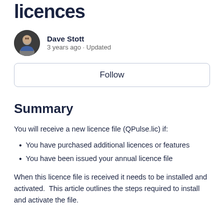licences
[Figure (photo): Circular avatar photo of Dave Stott, a man in business attire]
Dave Stott
3 years ago · Updated
Follow
Summary
You will receive a new licence file (QPulse.lic) if:
You have purchased additional licences or features
You have been issued your annual licence file
When this licence file is received it needs to be installed and activated.  This article outlines the steps required to install and activate the file.